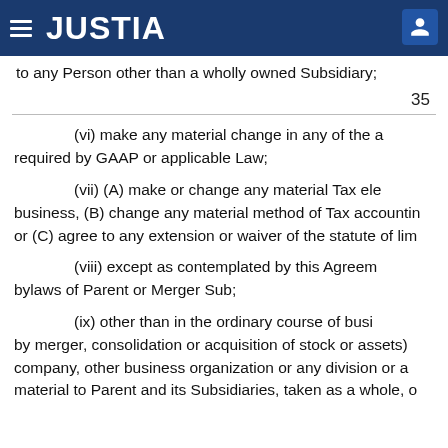JUSTIA
to any Person other than a wholly owned Subsidiary;
35
(vi) make any material change in any of the a required by GAAP or applicable Law;
(vii) (A) make or change any material Tax ele business, (B) change any material method of Tax accountin or (C) agree to any extension or waiver of the statute of lim
(viii) except as contemplated by this Agreem bylaws of Parent or Merger Sub;
(ix) other than in the ordinary course of busi by merger, consolidation or acquisition of stock or assets) company, other business organization or any division or a material to Parent and its Subsidiaries, taken as a whole, o